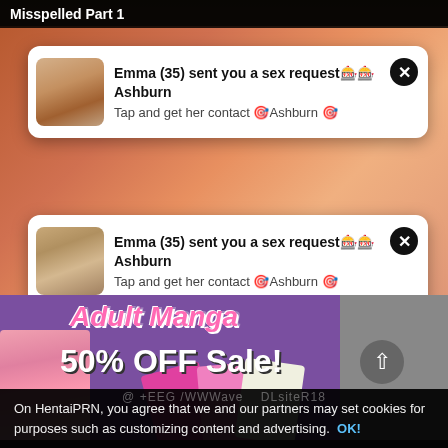Misspelled Part 1
[Figure (screenshot): Notification popup card 1: photo of blonde woman, text 'Emma (35) sent you a sex request Ashburn / Tap and get her contact Ashburn' with X close button]
[Figure (screenshot): Notification popup card 2: photo of blonde woman, text 'Emma (35) sent you a sex request Ashburn / Tap and get her contact Ashburn' with X close button]
[Figure (infographic): Adult Manga 50% OFF Sale advertisement banner with purple background, pink stylized text and manga character art]
On HentaiPRN, you agree that we and our partners may set cookies for purposes such as customizing content and advertising.  OK!
@ +EEG /WWWave    DLsiteR18